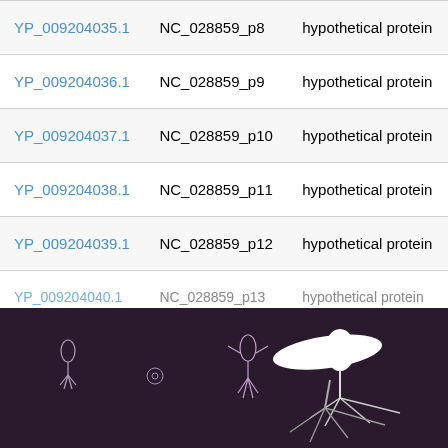| Accession | Locus Tag | Description |
| --- | --- | --- |
| YP_009204035.1 | NC_028859_p8 | hypothetical protein |
| YP_009204036.1 | NC_028859_p9 | hypothetical protein |
| YP_009204037.1 | NC_028859_p10 | hypothetical protein |
| YP_009204038.1 | NC_028859_p11 | hypothetical protein |
| YP_009204039.1 | NC_028859_p12 | hypothetical protein |
| YP_009204040.1 | NC_028859_p13 | hypothetical protein |
Showing 1 to 64 of 64 entries
[Figure (illustration): Dark purple/maroon footer area showing stylized bacteriophage illustrations in white outlines on a dark background — small phage on left, small circular object, medium phage in center, and large phage with tail fibers on right.]